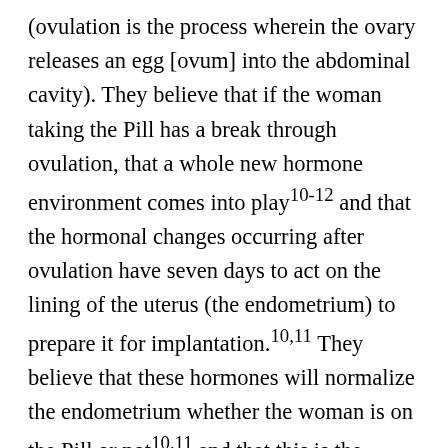(ovulation is the process wherein the ovary releases an egg [ovum] into the abdominal cavity). They believe that if the woman taking the Pill has a break through ovulation, that a whole new hormone environment comes into play10-12 and that the hormonal changes occurring after ovulation have seven days to act on the lining of the uterus (the endometrium) to prepare it for implantation.10,11 They believe that these hormones will normalize the endometrium whether the woman is on the Pill or not10,11 and that this is the reason that unexpected pregnancies on the Pill do as well as any other pregnancies (at least after the pregnancy is